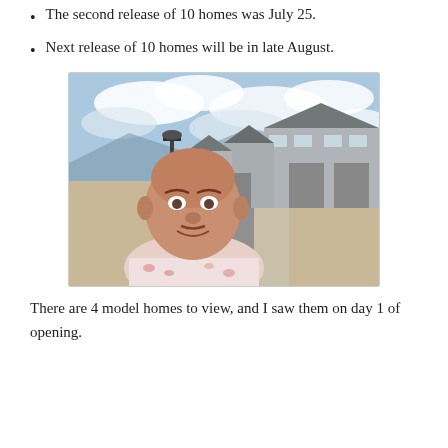The second release of 10 homes was July 25.
Next release of 10 homes will be in late August.
[Figure (photo): A man taking a selfie in front of a new residential housing development. He is bald, wearing a floral shirt. Behind him is a street lined with new two-story homes with garages, a lamppost, and a partly cloudy sky.]
There are 4 model homes to view, and I saw them on day 1 of opening.